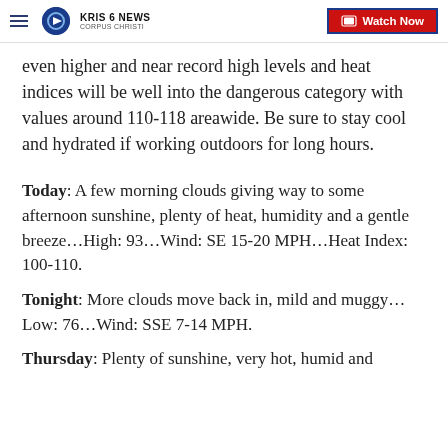KRIS 6 NEWS CORPUS CHRISTI | Watch Now
even higher and near record high levels and heat indices will be well into the dangerous category with values around 110-118 areawide. Be sure to stay cool and hydrated if working outdoors for long hours.
Today: A few morning clouds giving way to some afternoon sunshine, plenty of heat, humidity and a gentle breeze…High: 93…Wind: SE 15-20 MPH…Heat Index: 100-110.
Tonight: More clouds move back in, mild and muggy…Low: 76…Wind: SSE 7-14 MPH.
Thursday: Plenty of sunshine, very hot, humid and